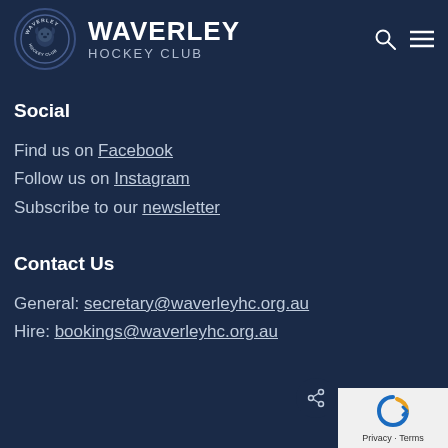WAVERLEY HOCKEY CLUB
Social
Find us on Facebook
Follow us on Instagram
Subscribe to our newsletter
Contact Us
General: secretary@waverleyhc.org.au
Hire: bookings@waverleyhc.org.au